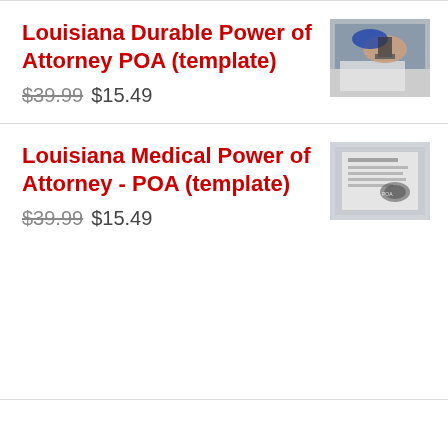Louisiana Durable Power of Attorney POA (template)
$39.99 $15.49
[Figure (photo): Photo of a person stamping or signing a legal document]
Louisiana Medical Power of Attorney - POA (template)
$39.99 $15.49
[Figure (photo): Photo of a Power of Attorney document]